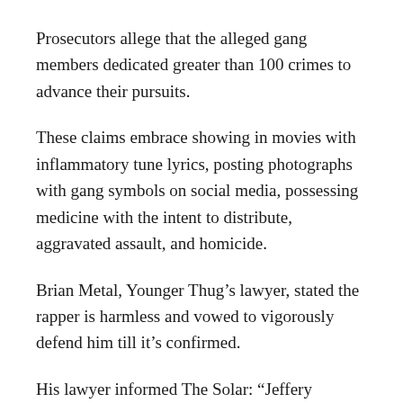Prosecutors allege that the alleged gang members dedicated greater than 100 crimes to advance their pursuits.
These claims embrace showing in movies with inflammatory tune lyrics, posting photographs with gang symbols on social media, possessing medicine with the intent to distribute, aggravated assault, and homicide.
Brian Metal, Younger Thug’s lawyer, stated the rapper is harmless and vowed to vigorously defend him till it’s confirmed.
His lawyer informed The Solar: “Jeffery Williams, who performs as “Younger Thug, ” vehemently denies the allegations lodged towards him within the Fulton County (Georgia) Indictment of Might